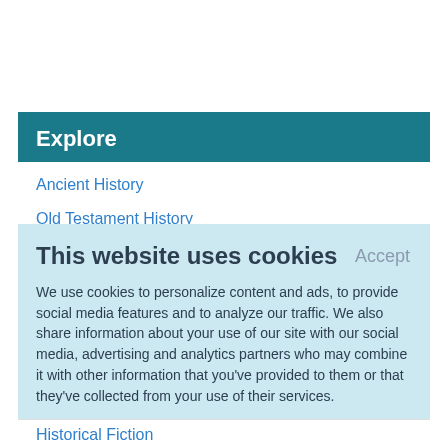Explore
Ancient History
Old Testament History
This website uses cookies
We use cookies to personalize content and ads, to provide social media features and to analyze our traffic. We also share information about your use of our site with our social media, advertising and analytics partners who may combine it with other information that you've provided to them or that they've collected from your use of their services.
Learn More.
Historical Fiction